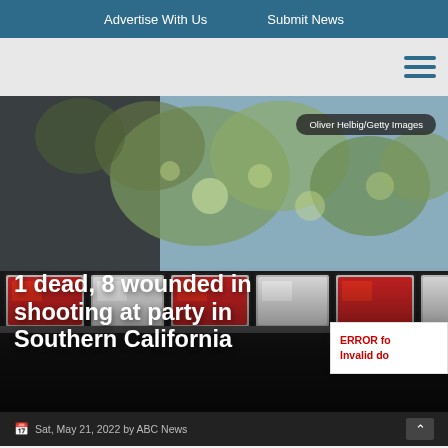Advertise With Us    Submit News
[Figure (photo): Close-up photograph of police car emergency light bar with red and white lights, trees visible in background]
Oliver Helbig/Getty Images
1 dead, 8 wounded in shooting at party in Southern California
ERROR for Invalid do...
Sat, May 21, 2022 by ABC News